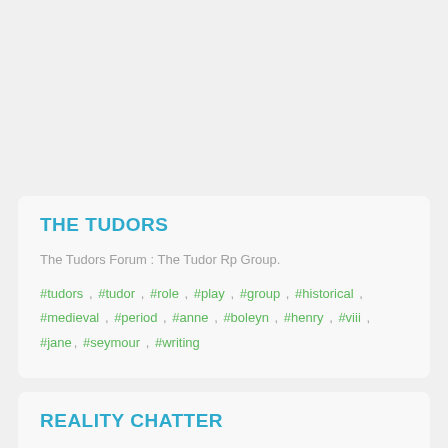THE TUDORS
The Tudors Forum : The Tudor Rp Group.
#tudors , #tudor , #role , #play , #group , #historical , #medieval , #period , #anne , #boleyn , #henry , #viii , #jane, #seymour , #writing
REALITY CHATTER